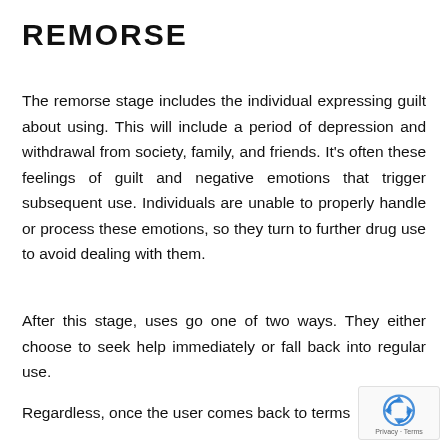REMORSE
The remorse stage includes the individual expressing guilt about using. This will include a period of depression and withdrawal from society, family, and friends. It’s often these feelings of guilt and negative emotions that trigger subsequent use. Individuals are unable to properly handle or process these emotions, so they turn to further drug use to avoid dealing with them.
After this stage, uses go one of two ways. They either choose to seek help immediately or fall back into regular use.
Regardless, once the user comes back to terms